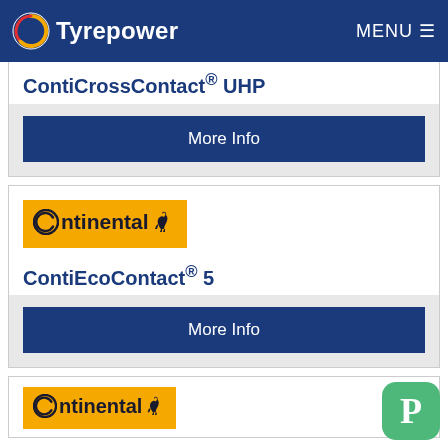Tyrepower  MENU
ContiCrossContact® UHP
More Info
[Figure (logo): Continental logo on orange/yellow background]
ContiEcoContact® 5
More Info
[Figure (logo): Continental logo on orange/yellow background (partial, bottom of page)]